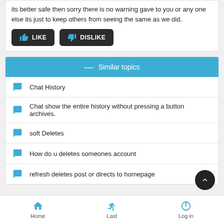its better safe then sorry there is no warning gave to you or any one else its just to keep others from seeing the same as we did.
[Figure (screenshot): Like and Dislike buttons (dark rounded buttons with blue icons and white text)]
Similar topics
Chat History
Chat show the entire history without pressing a button archives.
soft Deletes
How do u deletes someones account
refresh deletes post or directs to homepage
Home   Last   Log in